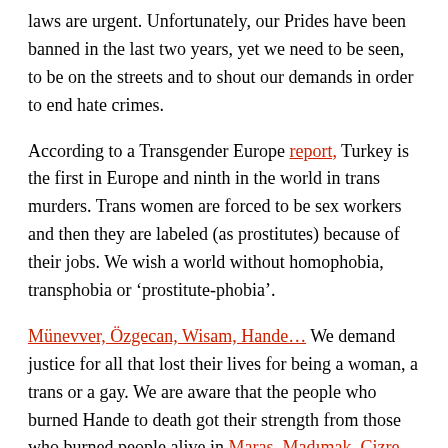laws are urgent. Unfortunately, our Prides have been banned in the last two years, yet we need to be seen, to be on the streets and to shout our demands in order to end hate crimes.
According to a Transgender Europe report, Turkey is the first in Europe and ninth in the world in trans murders. Trans women are forced to be sex workers and then they are labeled (as prostitutes) because of their jobs. We wish a world without homophobia, transphobia or ‘prostitute-phobia’.
Münevver, Özgecan, Wisam, Hande… We demand justice for all that lost their lives for being a woman, a trans or a gay. We are aware that the people who burned Hande to death got their strength from those who burned people alive in Maraş, Madımak, Cizre. We are repeating once again that the only way to stop hate crimes is to raise our voice together against hatred and hate crimes.
We are inviting every individual from this society to our march from Tünel to Galatasaray where we will demand justice for Hande Kader on Sunday, 21 August, 7 PM.